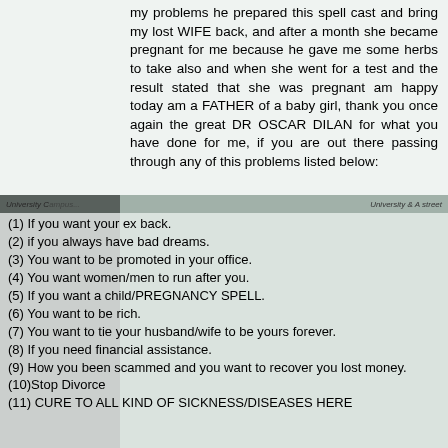my problems he prepared this spell cast and bring my lost WIFE back, and after a month she became pregnant for me because he gave me some herbs to take also and when she went for a test and the result stated that she was pregnant am happy today am a FATHER of a baby girl, thank you once again the great DR OSCAR DILAN for what you have done for me, if you are out there passing through any of this problems listed below:
(1) If you want your ex back.
(2) if you always have bad dreams.
(3) You want to be promoted in your office.
(4) You want women/men to run after you.
(5) If you want a child/PREGNANCY SPELL.
(6) You want to be rich.
(7) You want to tie your husband/wife to be yours forever.
(8) If you need financial assistance.
(9) How you been scammed and you want to recover you lost money.
(10)Stop Divorce
(11) CURE TO ALL KIND OF SICKNESS/DISEASES HERE